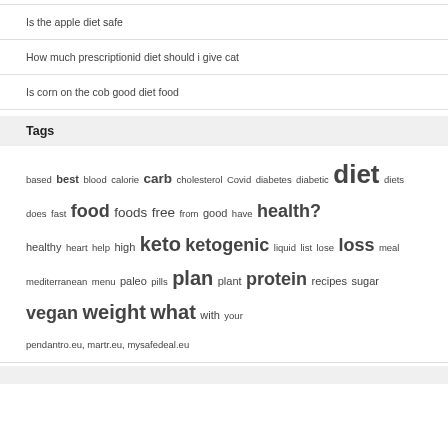Is the apple diet safe
How much prescriptionid diet should i give cat
Is corn on the cob good diet food
Tags
based best blood calorie carb cholesterol Covid diabetes diabetic diet diets does fast food foods free from good have health? healthy heart help high keto ketogenic liquid list lose loss meal mediterranean menu paleo pills plan plant protein recipes sugar vegan weight what with your
pendantro.eu, martr.eu, mysafedeal.eu